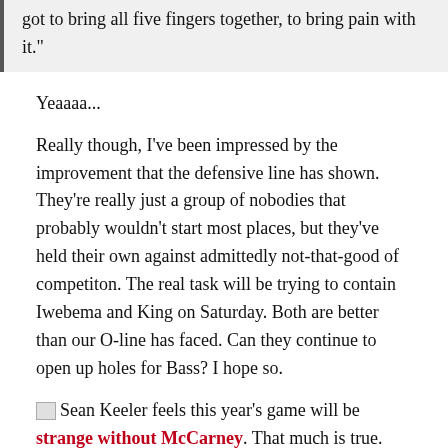got to bring all five fingers together, to bring pain with it."
Yeaaaa...
Really though, I've been impressed by the improvement that the defensive line has shown. They're really just a group of nobodies that probably wouldn't start most places, but they've held their own against admittedly not-that-good of competiton. The real task will be trying to contain Iwebema and King on Saturday. Both are better than our O-line has faced. Can they continue to open up holes for Bass? I hope so.
Sean Keeler feels this year's game will be strange without McCarney. That much is true. Mac made this back into a rivalry again. I'm sick of hearing about USF